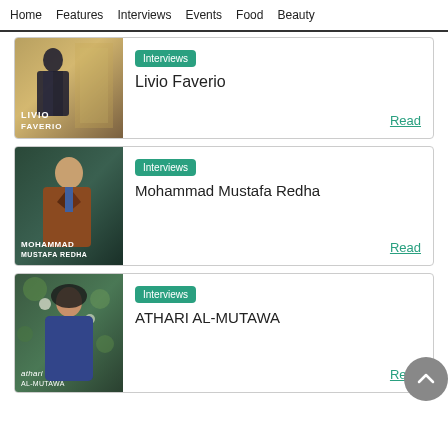Home  Features  Interviews  Events  Food  Beauty
[Figure (photo): Photo of Livio Faverio, a man in a suit standing in an elegant room, with text overlay LIVIO FAVERIO]
Interviews
Livio Faverio
Read
[Figure (photo): Photo of Mohammad Mustafa Redha, a man in a brown jacket against a dark teal background, with text overlay MOHAMMAD MUSTAFA REDHA]
Interviews
Mohammad Mustafa Redha
Read
[Figure (photo): Photo of Athari Al-Mutawa, a woman in a floral setting, with text overlay athari AL-MUTAWA]
Interviews
ATHARI AL-MUTAWA
Read